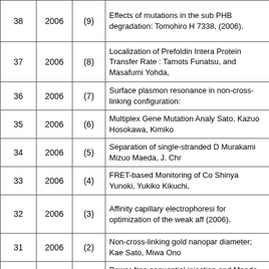| # | Year | Ref | Description |
| --- | --- | --- | --- |
| 38 | 2006 | (9) | Effects of mutations in the sub PHB degradation: Tomohiro H 7338, (2006). |
| 37 | 2006 | (8) | Localization of Prefoldin Intera Protein Transfer Rate : Tamots Funatsu, and Masafumi Yohda, |
| 36 | 2006 | (7) | Surface plasmon resonance in non-cross-linking configuration: |
| 35 | 2006 | (6) | Multiplex Gene Mutation Analy Sato, Kazuo Hosokawa, Kimiko |
| 34 | 2006 | (5) | Separation of single-stranded D Murakami Mizuo Maeda, J. Chr |
| 33 | 2006 | (4) | FRET-based Monitoring of Co Shinya Yunoki, Yukiko Kikuchi, |
| 32 | 2006 | (3) | Affinity capillary electrophoresi for optimization of the weak aff (2006). |
| 31 | 2006 | (2) | Non-cross-linking gold nanopar diameter; Kae Sato, Miwa Ono |
| 30 | 2006 | (1) | Power-free sequential injection and Maeda Mizuo, Lab on a Ch |
| 29 | 2005 | (8) | DNA-Responsive Hydrogels T |